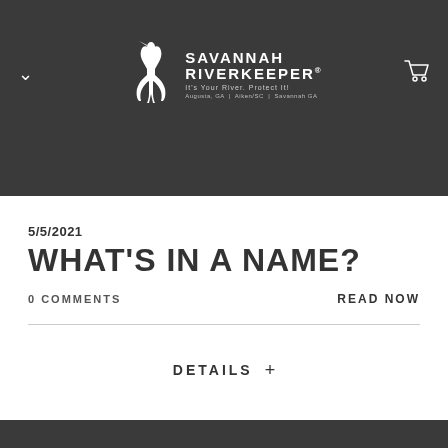[Figure (logo): Savannah Riverkeeper logo with heron bird silhouette and text: SAVANNAH RIVERKEEPER® It's Your River. Protect It! Augusta, GA | Aiken/SC | Savannah GA]
5/5/2021
WHAT'S IN A NAME?
0 COMMENTS
READ NOW
DETAILS +